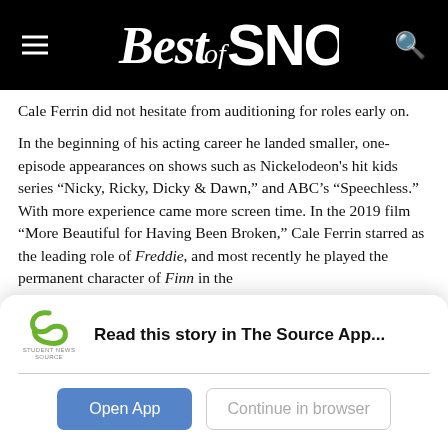Best of SNO
Cale Ferrin did not hesitate from auditioning for roles early on.
In the beginning of his acting career he landed smaller, one-episode appearances on shows such as Nickelodeon's hit kids series “Nicky, Ricky, Dicky & Dawn,” and ABC’s “Speechless.” With more experience came more screen time. In the 2019 film “More Beautiful for Having Been Broken,” Cale Ferrin starred as the leading role of Freddie, and most recently he played the permanent character of Finn in the
Read this story in The Source App...
Open App
Continue in browser